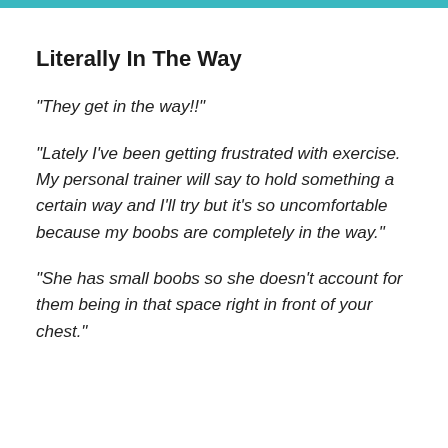Literally In The Way
"They get in the way!!"
"Lately I've been getting frustrated with exercise. My personal trainer will say to hold something a certain way and I'll try but it's so uncomfortable because my boobs are completely in the way."
"She has small boobs so she doesn't account for them being in that space right in front of your chest."